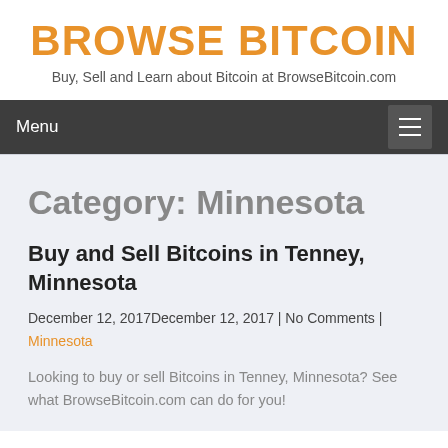BROWSE BITCOIN
Buy, Sell and Learn about Bitcoin at BrowseBitcoin.com
Menu
Category: Minnesota
Buy and Sell Bitcoins in Tenney, Minnesota
December 12, 2017December 12, 2017 | No Comments | Minnesota
Looking to buy or sell Bitcoins in Tenney, Minnesota? See what BrowseBitcoin.com can do for you!